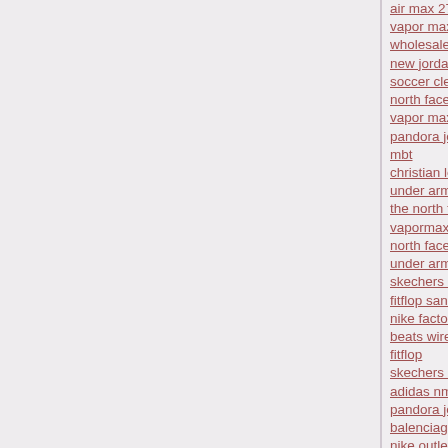air max 270
vapor max
wholesale nfl jerseys
new jordans 2018
soccer cleats
north face jackets
vapor max
pandora jewelry
mbt
christian louboutin shoes
under armour outlet online
the north face jackets
vapormax flyknit
north face sale
under armour outlet online
skechers outlet
fitflop sandals
nike factory store
beats wireless
fitflop
skechers shoes
adidas nmd
pandora jewelry official site
balenciaga triple s
nike outlet store online
curry basketball shoes
nike shox
nike huarache
skechers outlet online
jordan retro 12
air presto
jordan 12
air max 97 ultra
jimmy choo outlet
red bottom shoes
pandora jewelry official site
kobe 12